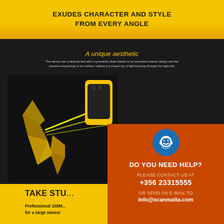EXUDES CHARACTER AND STYLE FROM EVERY ANGLE
A unique aesthetic
The device has a delicate feel with a symmetric clean thanks to its innovative interior design and the precision engraving on its surface, making it a unique ray of light bursting through the night sky.
[Figure (photo): Yellow and black smartphone with laser crystal prism light refraction scene on dark background]
TAKE STU...
Professional 108M... for a large sensor
[Figure (infographic): Orange customer support popup with blue headset smiley icon, showing contact information: DO YOU NEED HELP? PLEASE CONTACT US AT +356 23315555 OR SEND AN E-MAIL TO info@scanmalta.com]